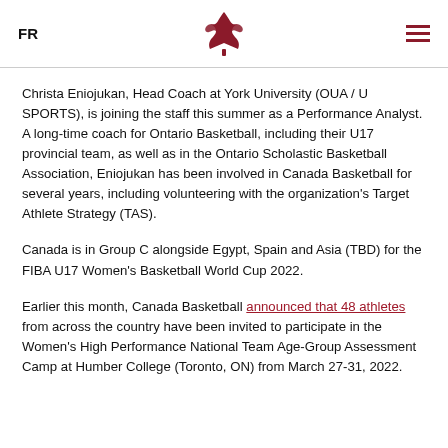FR | Canada Basketball logo | Menu
Christa Eniojukan, Head Coach at York University (OUA / U SPORTS), is joining the staff this summer as a Performance Analyst. A long-time coach for Ontario Basketball, including their U17 provincial team, as well as in the Ontario Scholastic Basketball Association, Eniojukan has been involved in Canada Basketball for several years, including volunteering with the organization's Target Athlete Strategy (TAS).
Canada is in Group C alongside Egypt, Spain and Asia (TBD) for the FIBA U17 Women's Basketball World Cup 2022.
Earlier this month, Canada Basketball announced that 48 athletes from across the country have been invited to participate in the Women's High Performance National Team Age-Group Assessment Camp at Humber College (Toronto, ON) from March 27-31, 2022.